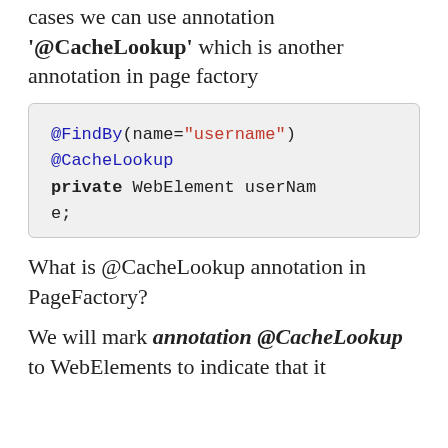cases we can use annotation '@CacheLookup' which is another annotation in page factory
@FindBy(name="username")
@CacheLookup
private WebElement userName;
What is @CacheLookup annotation in PageFactory?
We will mark annotation @CacheLookup to WebElements to indicate that it